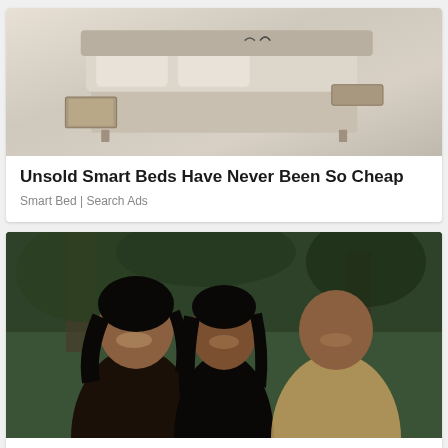[Figure (photo): Smart bed product photo showing a beige/cream upholstered bed with built-in drawers and storage compartments, viewed from an angle]
Unsold Smart Beds Have Never Been So Cheap
Smart Bed | Search Ads
[Figure (photo): Family portrait photo of three people (two women and one man) smiling, posing outdoors with trees in background]
[Pics] Obama's $8.1M Mansion Looks Like This